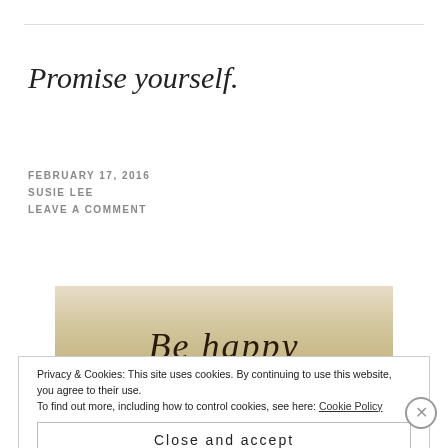Promise yourself.
FEBRUARY 17, 2016
SUSIE LEE
LEAVE A COMMENT
[Figure (photo): Photo with cursive script text reading 'Be happy' on a warm beige/tan background]
Privacy & Cookies: This site uses cookies. By continuing to use this website, you agree to their use.
To find out more, including how to control cookies, see here: Cookie Policy
Close and accept